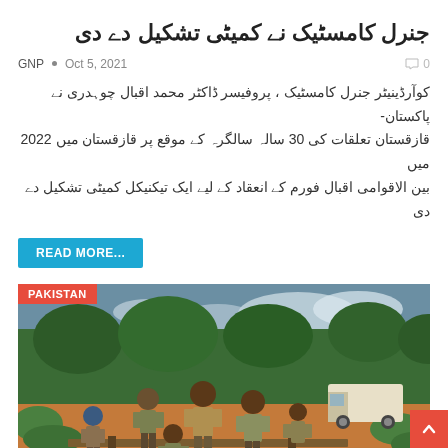جنرل کامسٹیک نے کمیٹی تشکیل دے دی
GNP • Oct 5, 2021 • 0
کوآرڈینیٹر جنرل کامسٹیک ، پروفیسر ڈاکٹر محمد اقبال چوہدری نے پاکستان-قازقستان تعلقات کی 30 سالہ سالگرہ کے موقع پر قازقستان میں 2022 میں بین الاقوامی اقبال فورم کے انعقاد کے لیے ایک تیکنیکل کمیٹی تشکیل دے دی
READ MORE...
[Figure (photo): Military personnel in camouflage uniforms working on a wooden bridge/railway track in a green outdoor environment. A vehicle is visible in the background. A red PAKISTAN badge is in the top left corner.]
UN Pakistan Appreciates Pakistan's